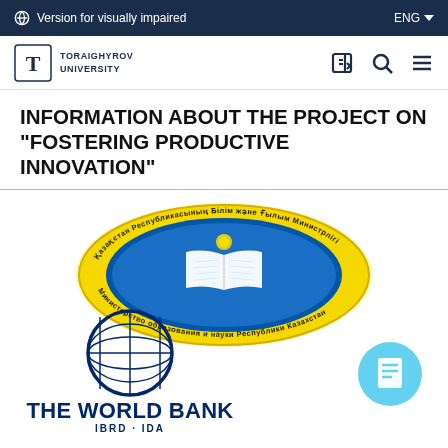Version for visually impaired    ENG
[Figure (logo): Toraighyrov University logo with stylized T icon and text TORAIGHYROV UNIVERSITY]
INFORMATION ABOUT THE PROJECT ON "FOSTERING PRODUCTIVE INNOVATION"
[Figure (logo): Kazakhstan Ministry of Education seal - oval blue and yellow emblem with open book in center and Kazakh text around border]
[Figure (logo): World Bank logo - globe with latitude/longitude lines, text THE WORLD BANK and IBRD - IDA below]
[Figure (illustration): Light blue circle with document/lines icon inside]